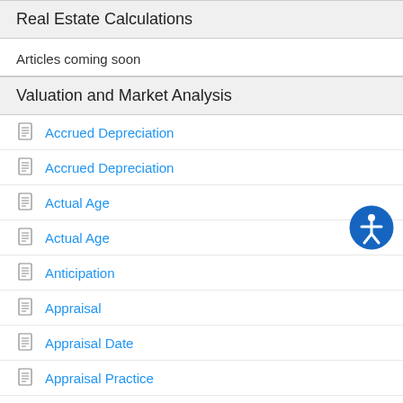Real Estate Calculations
Articles coming soon
Valuation and Market Analysis
Accrued Depreciation
Accrued Depreciation
Actual Age
Actual Age
Anticipation
Appraisal
Appraisal Date
Appraisal Practice
Appraisal Process